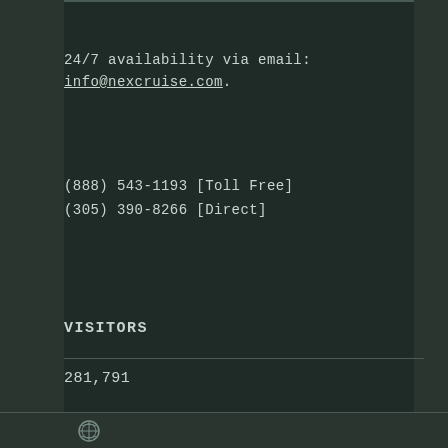24/7 availability via email:
info@nexcruise.com.
(888) 543-1193 [Toll Free]
(305) 390-8266 [Direct]
VISITORS
281,791
[Figure (logo): WordPress logo icon in footer]